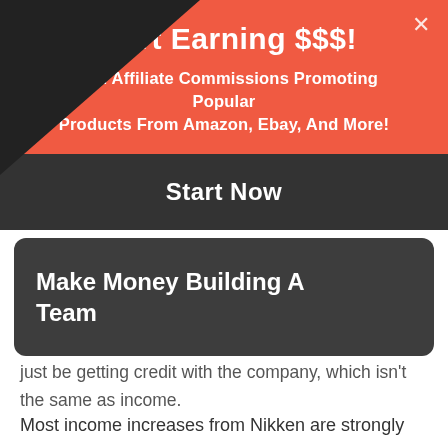Start Earning $$$!
Earn Affiliate Commissions Promoting Popular Products From Amazon, Ebay, And More!
Start Now
The rebate might add to your earning potential, but it's hard to be certain. The problem is that Nikken never really explains what the rebate is. You might just be getting credit with the company, which isn't the same as income.
Make Money Building A Team
Most income increases from Nikken are strongly